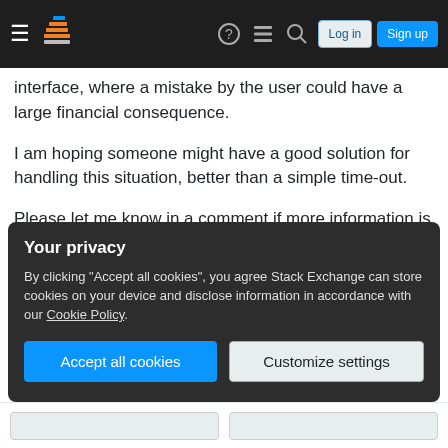Stack Exchange navigation bar with hamburger menu, logo, help, chat, search icons, Log in and Sign up buttons
interface, where a mistake by the user could have a large financial consequence.
I am hoping someone might have a good solution for handling this situation, better than a simple time-out.
Please let me know in a comment if more information is required.
I have asked this same question on StackOverflow, but thought I might get more usability options here
Your privacy
By clicking "Accept all cookies", you agree Stack Exchange can store cookies on your device and disclose information in accordance with our Cookie Policy.
Accept all cookies  Customize settings